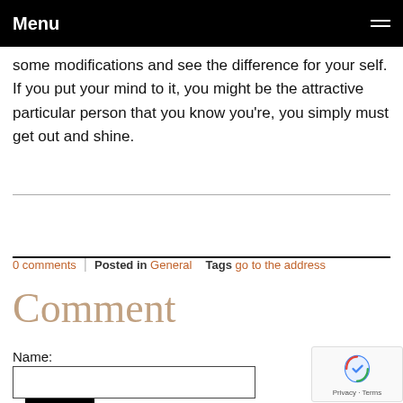Menu
some modifications and see the difference for your self. If you put your mind to it, you might be the attractive particular person that you know you're, you simply must get out and shine.
Go Back
0 comments | Posted in General   Tags go to the address
Comment
Name: